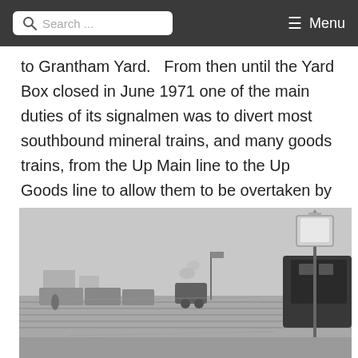Search ... Menu
to Grantham Yard. From then until the Yard Box closed in June 1971 one of the main duties of its signalmen was to divert most southbound mineral trains, and many goods trains, from the Up Main line to the Up Goods line to allow them to be overtaken by faster traffic.
[Figure (photo): Historical black and white photograph of a railway yard showing steam locomotives, wagons on multiple tracks, a gas lamp post in the foreground right, and railway infrastructure receding into the distance.]